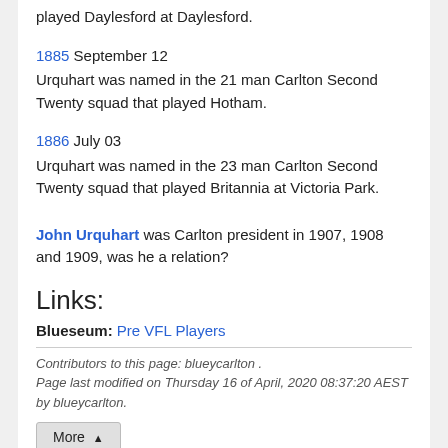played Daylesford at Daylesford.
1885 September 12
Urquhart was named in the 21 man Carlton Second Twenty squad that played Hotham.
1886 July 03
Urquhart was named in the 23 man Carlton Second Twenty squad that played Britannia at Victoria Park.
John Urquhart was Carlton president in 1907, 1908 and 1909, was he a relation?
Links:
Blueseum: Pre VFL Players
Contributors to this page: blueycarlton .
Page last modified on Thursday 16 of April, 2020 08:37:20 AEST by blueycarlton.